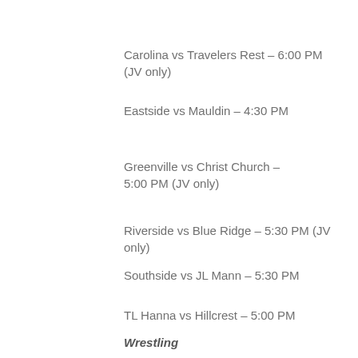Carolina vs Travelers Rest – 6:00 PM (JV only)
Eastside vs Mauldin – 4:30 PM
Greenville vs Christ Church – 5:00 PM (JV only)
Riverside vs Blue Ridge – 5:30 PM (JV only)
Southside vs JL Mann – 5:30 PM
TL Hanna vs Hillcrest – 5:00 PM
Wrestling